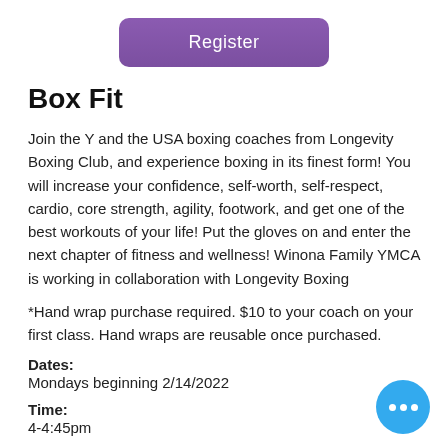[Figure (other): Purple rounded rectangle button with white text 'Register']
Box Fit
Join the Y and the USA boxing coaches from Longevity Boxing Club, and experience boxing in its finest form! You will increase your confidence, self-worth, self-respect, cardio, core strength, agility, footwork, and get one of the best workouts of your life! Put the gloves on and enter the next chapter of fitness and wellness! Winona Family YMCA is working in collaboration with Longevity Boxing
*Hand wrap purchase required. $10 to your coach on your first class. Hand wraps are reusable once purchased.
Dates:
Mondays beginning 2/14/2022
Time:
4-4:45pm
[Figure (other): Blue circle chat bubble icon with three white dots]